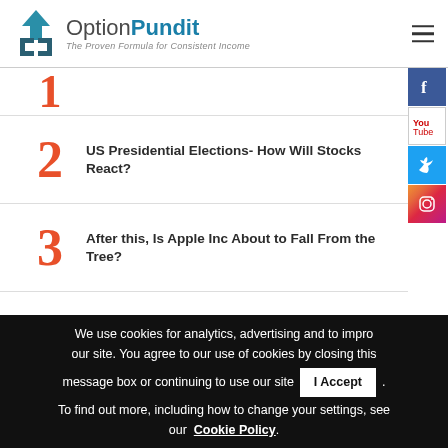OptionPundit - The Proven Formula for Consistent Income
1
2 US Presidential Elections- How Will Stocks React?
3 After this, Is Apple Inc About to Fall From the Tree?
4 This is how you trade Market Uncertainty
We use cookies for analytics, advertising and to improve our site. You agree to our use of cookies by closing this message box or continuing to use our site. I Accept. To find out more, including how to change your settings, see our Cookie Policy.